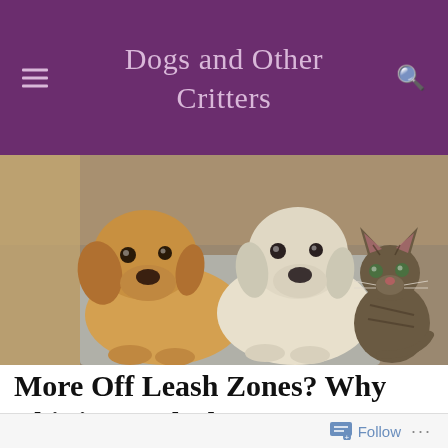Dogs and Other Critters
[Figure (photo): Two Labrador dogs (one golden/yellow and one white/cream) and a tabby cat lying on a rug/mat on the floor indoors]
More Off Leash Zones? Why This is a Bad Idea.